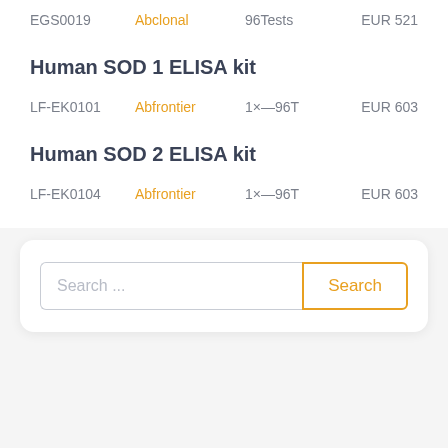EGS0019   Abclonal   96Tests   EUR 521
Human SOD 1 ELISA kit
LF-EK0101   Abfrontier   1×—96T   EUR 603
Human SOD 2 ELISA kit
LF-EK0104   Abfrontier   1×—96T   EUR 603
[Figure (other): Search bar with text input field showing placeholder 'Search ...' and an orange-bordered Search button]